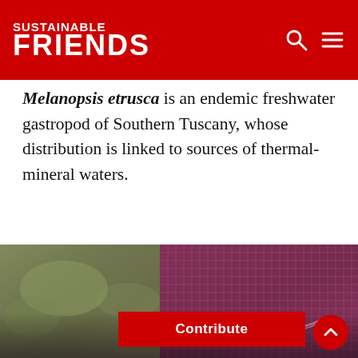SUSTAINABLE FRIENDS
Melanopsis etrusca is an endemic freshwater gastropod of Southern Tuscany, whose distribution is linked to sources of thermal-mineral waters.
[Figure (photo): Close-up photograph showing a dark reddish-purple net or mesh material on the right side, with a blurred grayish-green rocky or mossy surface on the left side.]
Contribute